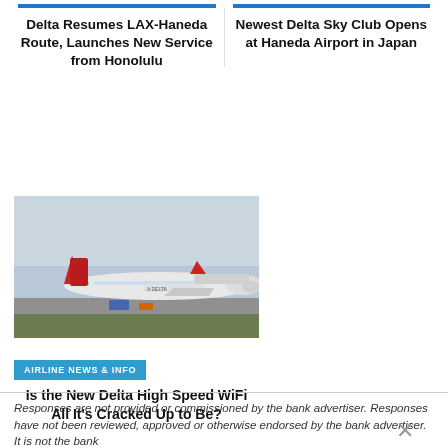Delta Resumes LAX-Haneda Route, Launches New Service from Honolulu
Newest Delta Sky Club Opens at Haneda Airport in Japan
[Figure (photo): Delta Air Lines planes parked at an airport tarmac with a cloudy sky background]
AIRLINE NEWS & INFO
Is the New Delta High Speed WiFi All It's Cracked Up to Be?
Responses are not provided or commissioned by the bank advertiser. Responses have not been reviewed, approved or otherwise endorsed by the bank advertiser. It is not the bank